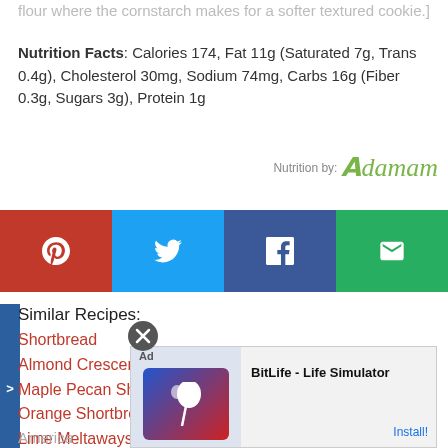flour where the cornstarch makes for a softer textured cookie.]
Nutrition Facts: Calories 174, Fat 11g (Saturated 7g, Trans 0.4g), Cholesterol 30mg, Sodium 74mg, Carbs 16g (Fiber 0.3g, Sugars 3g), Protein 1g
[Figure (logo): Edamam nutrition logo with cursive green text 'Edamam' and 'Nutrition by:' label]
[Figure (infographic): Social sharing bar with Pinterest (red), Twitter (blue), Facebook (dark blue), and Email (green) buttons]
Similar Recipes:
Shortbread
Almond Crescent Cookies
Maple Pecan Shortbread
Orange Shortbread Dipped in Chocolate
Lime Meltaways
Stilton and Rosemary Shortbread
Gorgonzola and Pistachio Shortbread
Bacon Maple Shortbread
Chocolate Cherry Balsamic Goat Cheese Shortbread
[Figure (screenshot): Advertisement overlay for BitLife - Life Simulator app with Install button]